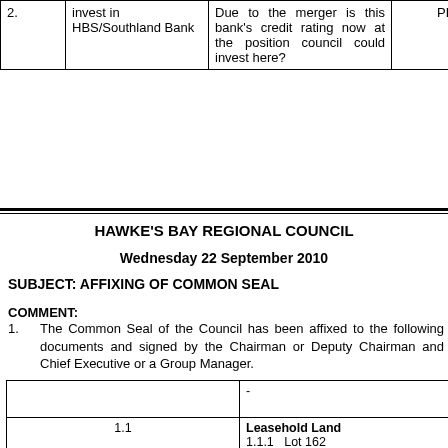|  |  |  |  |
| --- | --- | --- | --- |
| 2. | invest in HBS/Southland Bank | Due to the merger is this bank's credit rating now at the position council could invest here? | PD |
HAWKE'S BAY REGIONAL COUNCIL
Wednesday 22 September 2010
SUBJECT: AFFIXING OF COMMON SEAL
COMMENT:
1. The Common Seal of the Council has been affixed to the following documents and signed by the Chairman or Deputy Chairman and Chief Executive or a Group Manager.
| - |  |
| --- | --- |
| 1.1 | Leasehold Land
1.1.1 Lot 162
 DP 6598
 CT C2/362
 - Agree |